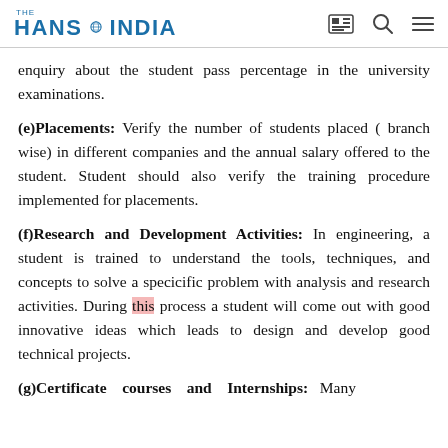THE HANS INDIA
enquiry about the student pass percentage in the university examinations.
(e)Placements: Verify the number of students placed (branch wise) in different companies and the annual salary offered to the student. Student should also verify the training procedure implemented for placements.
(f)Research and Development Activities: In engineering, a student is trained to understand the tools, techniques, and concepts to solve a specicific problem with analysis and research activities. During this process a student will come out with good innovative ideas which leads to design and develop good technical projects.
(g)Certificate courses and Internships: Many